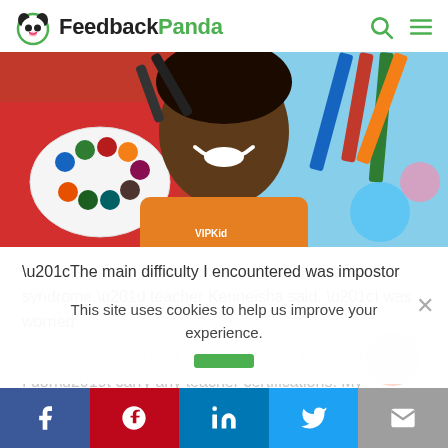[Figure (logo): FeedbackPanda logo with panda icon and green/black text]
[Figure (photo): Teacher wearing orange VIPKid shirt surrounded by colorful art supplies and pencils]
“The main difficulty I encountered was impostor syndrome,” teacher Kenneisha said. “I was worried that parents would not choose me as a teacher because I don’t carry any teacher certifications. My undergrad and masters have absolutely nothing to
This site uses cookies to help us improve your experience.